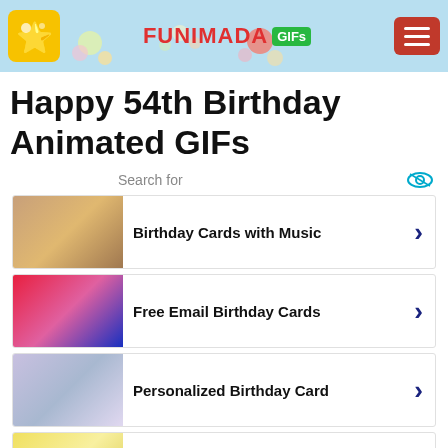FUNIMADA GIFs
Happy 54th Birthday Animated GIFs
Search for
Birthday Cards with Music
Free Email Birthday Cards
Personalized Birthday Card
Free Electronic Greeting Cards
Ad | Business Focus